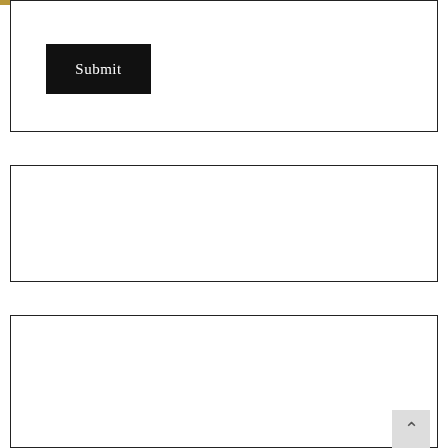[Figure (screenshot): A black Submit button inside a bordered white box with a gold/tan bar at the top]
Search
[Figure (screenshot): A search widget with a text input field and a Search button inside a bordered box]
Recent Posts
U Channel Purlin C Profile Dimensions Solar Panel Support Bracket 41×41 Galvanized Metal C Channel Sizes
How a lot more should be more in conjunction with the current topics...